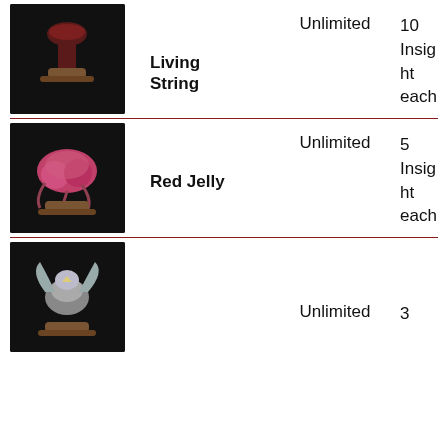| Item | Name | Availability | Price |
| --- | --- | --- | --- |
| [image] | Living String | Unlimited | 10 Insight each |
| [image] | Red Jelly | Unlimited | 5 Insight each |
| [image] |  | Unlimited | 3 |